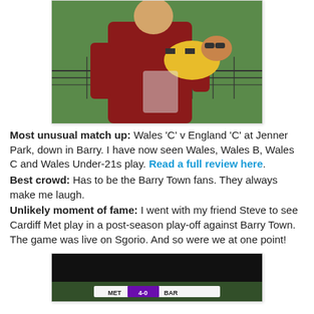[Figure (photo): Person in a red hoodie holding a dog wearing a yellow and black striped costume, standing near a green sports field fence.]
Most unusual match up: Wales 'C' v England 'C' at Jenner Park, down in Barry. I have now seen Wales, Wales B, Wales C and Wales Under-21s play. Read a full review here.
Best crowd: Has to be the Barry Town fans. They always make me laugh.
Unlikely moment of fame: I went with my friend Steve to see Cardiff Met play in a post-season play-off against Barry Town. The game was live on Sgorio. And so were we at one point!
[Figure (screenshot): Screenshot of a match scoreboard showing MET 4-0 BAR on a dark background.]